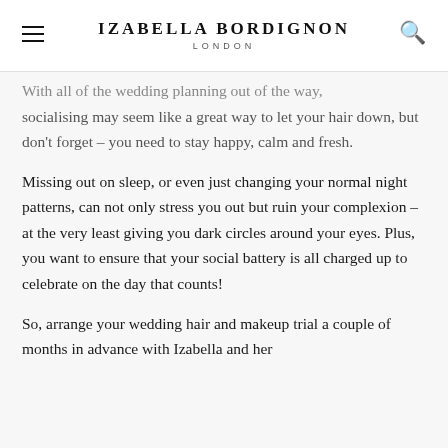IZABELLA BORDIGNON LONDON
With all of the wedding planning out of the way, socialising may seem like a great way to let your hair down, but don't forget – you need to stay happy, calm and fresh.
Missing out on sleep, or even just changing your normal night patterns, can not only stress you out but ruin your complexion – at the very least giving you dark circles around your eyes. Plus, you want to ensure that your social battery is all charged up to celebrate on the day that counts!
So, arrange your wedding hair and makeup trial a couple of months in advance with Izabella and her